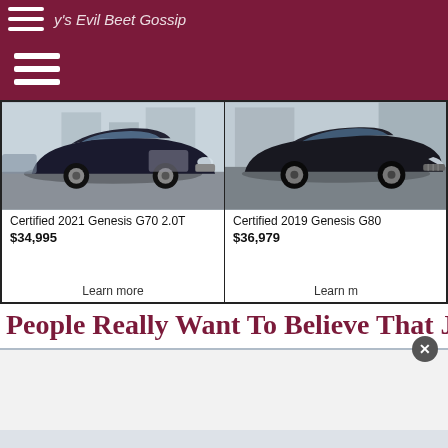y's Evil Beet Gossip
[Figure (screenshot): Car advertisement cards showing Certified 2021 Genesis G70 2.0T at $34,995 and Certified 2019 Genesis G80 at $36,979 with Learn more links]
People Really Want To Believe That Janu